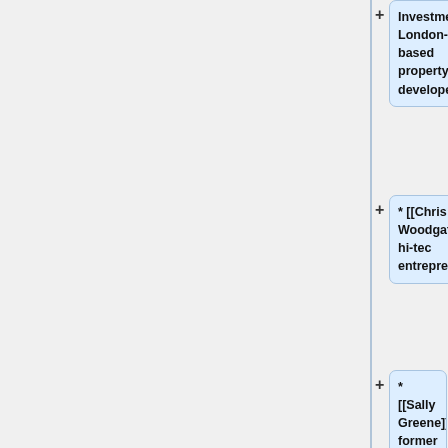* [[Investments]], London-based property developers.
* [[Chris Woodgate]], hi-tec entrepreneur.
* [[Sally Greene]], former actress and theatre impressario.
* [[David Kyte]], property developer.
* [[Stephen Barclay]], chairman of [[Talisman